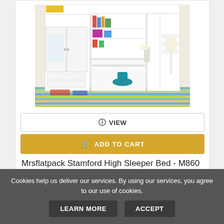[Figure (photo): White high sleeper bed with integrated wardrobe, shelving, and desk area, shown in a children's bedroom with colourful striped rug]
VIEW
ADD TO CART
Mrsflatpack Stamford High Sleeper Bed - M860 (White)
Cookies help us deliver our services. By using our services, you agree to our use of cookies.
LEARN MORE
ACCEPT